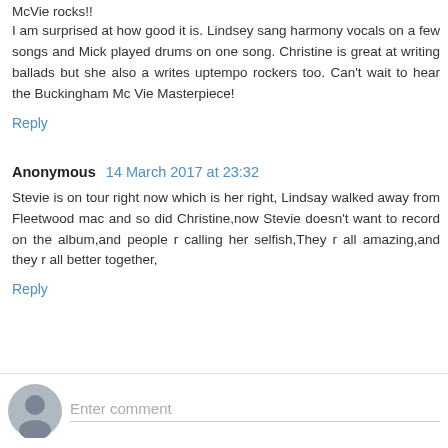McVie rocks!! I am surprised at how good it is. Lindsey sang harmony vocals on a few songs and Mick played drums on one song. Christine is great at writing ballads but she also a writes uptempo rockers too. Can't wait to hear the Buckingham Mc Vie Masterpiece!
Reply
Anonymous  14 March 2017 at 23:32
Stevie is on tour right now which is her right, Lindsay walked away from Fleetwood mac and so did Christine,now Stevie doesn't want to record on the album,and people r calling her selfish,They r all amazing,and they r all better together,
Reply
Enter comment